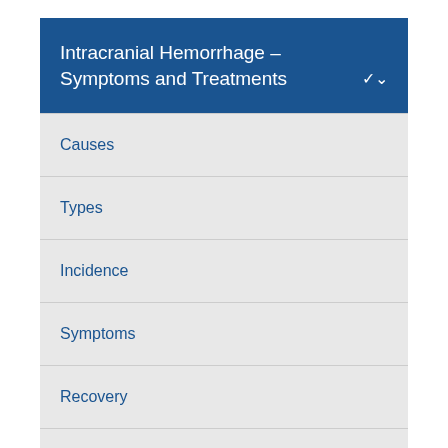Intracranial Hemorrhage – Symptoms and Treatments
Causes
Types
Incidence
Symptoms
Recovery
Diagnosis